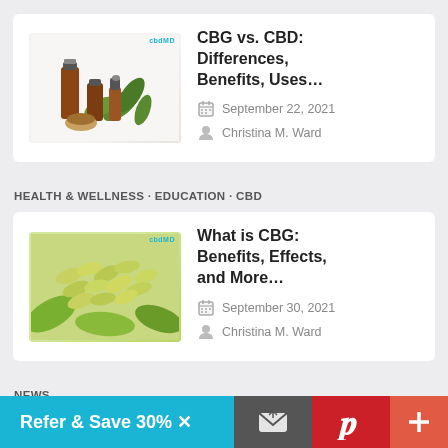[Figure (photo): Image of CBD oil bottles and cannabis leaves on white background with cbdMD logo]
CBG vs. CBD: Differences, Benefits, Uses…
September 22, 2021
Christina M. Ward
HEALTH & WELLNESS · EDUCATION · CBD
[Figure (photo): Image of green capsules/pills and cannabis leaves with cbdMD logo]
What is CBG: Benefits, Effects, and More…
September 30, 2021
Christina M. Ward
NEWS
Refer & Save 30% X